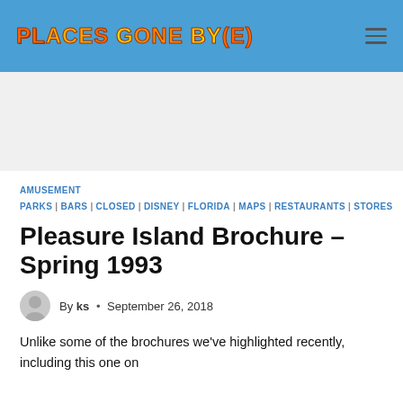PLACES GONE BY(E)
[Figure (other): Advertisement placeholder area]
AMUSEMENT PARKS | BARS | CLOSED | DISNEY | FLORIDA | MAPS | RESTAURANTS | STORES
Pleasure Island Brochure – Spring 1993
By ks • September 26, 2018
Unlike some of the brochures we've highlighted recently, including this one on